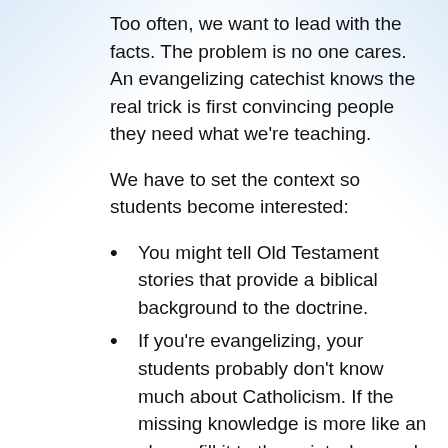Too often, we want to lead with the facts. The problem is no one cares. An evangelizing catechist knows the real trick is first convincing people they need what we're teaching.
We have to set the context so students become interested:
You might tell Old Testament stories that provide a biblical background to the doctrine.
If you're evangelizing, your students probably don't know much about Catholicism. If the missing knowledge is more like an abyss, fill it to the point where only a gap exists.
Highlight some knowledge first to prove